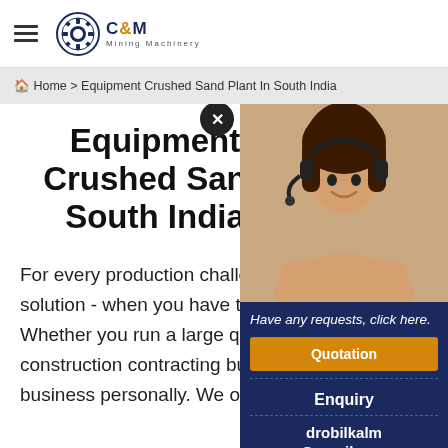C&M Mining Machinery
Home > Equipment Crushed Sand Plant In South India
Equipment Crushed Sand South India
[Figure (photo): Customer service representative with headset smiling]
Have any requests, click here.
Quotation
Enquiry
drobilkalm@gmail.com
Chat
For every production challenge, there is a solution - when you have the right pa... Whether you run a large quarry or a construction contracting business, we... business personally. We offer the highest